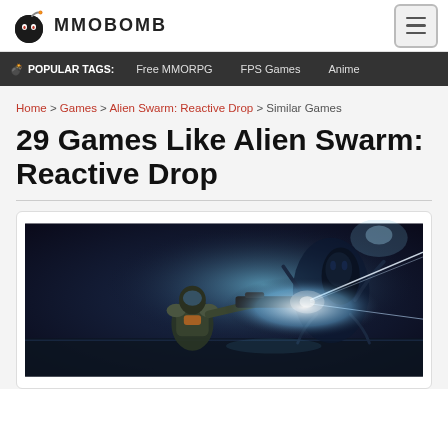MMOBOMB
POPULAR TAGS: Free MMORPG   FPS Games   Anime
Home > Games > Alien Swarm: Reactive Drop > Similar Games
29 Games Like Alien Swarm: Reactive Drop
[Figure (screenshot): Sci-fi top-down shooter game screenshot showing a character with a weapon firing light beams in a dark blue environment, from Alien Swarm: Reactive Drop]